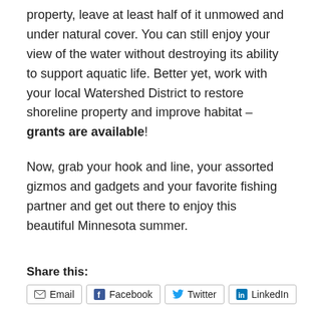property, leave at least half of it unmowed and under natural cover. You can still enjoy your view of the water without destroying its ability to support aquatic life. Better yet, work with your local Watershed District to restore shoreline property and improve habitat – grants are available!
Now, grab your hook and line, your assorted gizmos and gadgets and your favorite fishing partner and get out there to enjoy this beautiful Minnesota summer.
Share this:
Email  Facebook  Twitter  LinkedIn